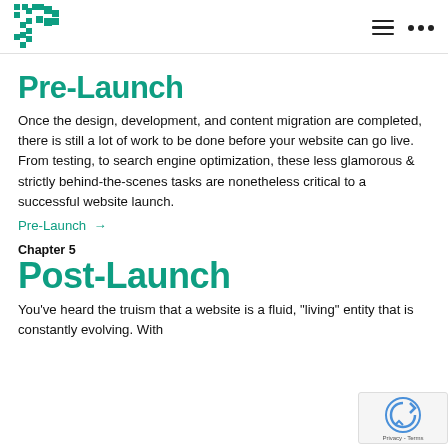Logo and navigation
Pre-Launch
Once the design, development, and content migration are completed, there is still a lot of work to be done before your website can go live. From testing, to search engine optimization, these less glamorous & strictly behind-the-scenes tasks are nonetheless critical to a successful website launch.
Pre-Launch →
Chapter 5
Post-Launch
You've heard the truism that a website is a fluid, "living" entity that is constantly evolving. With